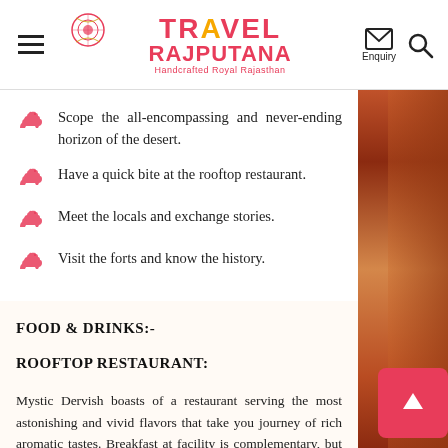TRAVEL RAJPUTANA — Handcrafted Royal Rajasthan
Scope the all-encompassing and never-ending horizon of the desert.
Have a quick bite at the rooftop restaurant.
Meet the locals and exchange stories.
Visit the forts and know the history.
FOOD & DRINKS:-
ROOFTOP RESTAURANT:
Mystic Dervish boasts of a restaurant serving the most astonishing and vivid flavors that take you journey of rich aromatic tastes. Breakfast at facility is complementary, but you can also enjoy a sumptuous meal overlooking the grand fort. The